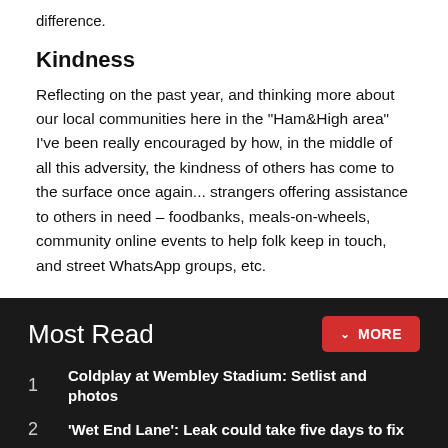difference.
Kindness
Reflecting on the past year, and thinking more about our local communities here in the "Ham&High area" I've been really encouraged by how, in the middle of all this adversity, the kindness of others has come to the surface once again... strangers offering assistance to others in need – foodbanks, meals-on-wheels, community online events to help folk keep in touch, and street WhatsApp groups, etc.
Most Read
1  Coldplay at Wembley Stadium: Setlist and photos
2  'Wet End Lane': Leak could take five days to fix
3  Graham Chapman's Highgate haunt gets a refurb